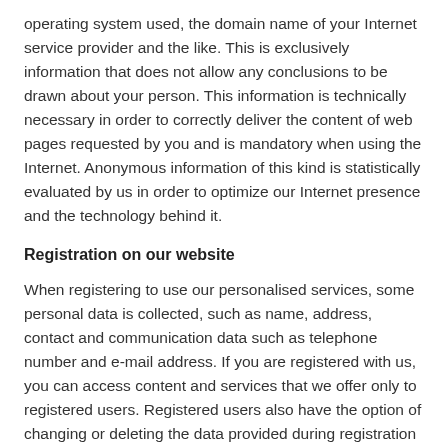operating system used, the domain name of your Internet service provider and the like. This is exclusively information that does not allow any conclusions to be drawn about your person. This information is technically necessary in order to correctly deliver the content of web pages requested by you and is mandatory when using the Internet. Anonymous information of this kind is statistically evaluated by us in order to optimize our Internet presence and the technology behind it.
Registration on our website
When registering to use our personalised services, some personal data is collected, such as name, address, contact and communication data such as telephone number and e-mail address. If you are registered with us, you can access content and services that we offer only to registered users. Registered users also have the option of changing or deleting the data provided during registration at any time if